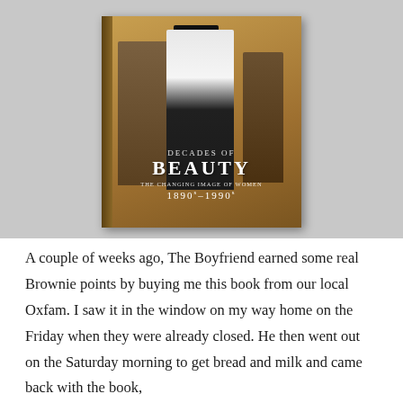[Figure (photo): A photograph of the book 'Decades of Beauty: The Changing Image of Women 1890s–1990s' placed on a gray surface. The book cover shows a colorized vintage street photograph of elegantly dressed women walking, with the book title prominently displayed.]
A couple of weeks ago, The Boyfriend earned some real Brownie points by buying me this book from our local Oxfam. I saw it in the window on my way home on the Friday when they were already closed. He then went out on the Saturday morning to get bread and milk and came back with the book,